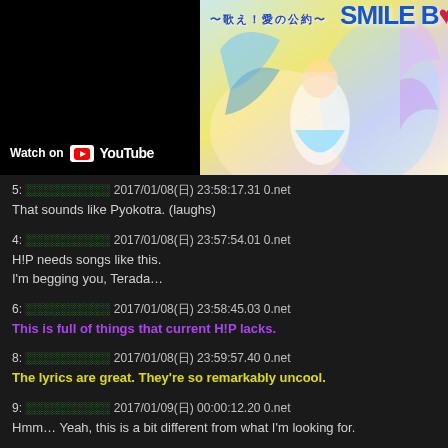[Figure (screenshot): YouTube video thumbnail with 'Watch on YouTube' button overlay. Left side is dark/black with the Watch on YouTube label; right side shows a colorful anime-style illustration with Japanese text.]
5: ░░░░░░░░░░ 2017/01/08(日) 23:58:17.31 0.net
That sounds like Pyokotra. (laughs)
4: ░░░░░░░░░░ 2017/01/08(日) 23:57:54.01 0.net
H!P needs songs like this.
I'm begging you, Terada…
6: ░░░░░░░░░░ 2017/01/08(日) 23:58:45.03 0.net
This is full of things that current H!P lacks.
8: ░░░░░░░░░░ 2017/01/08(日) 23:59:57.40 0.net
The lyrics are great. They're so remarkably uncool.
9: ░░░░░░░░░░ 2017/01/09(日) 00:00:12.20 0.net
Hmm… Yeah, this is a bit different from what I'm looking for.